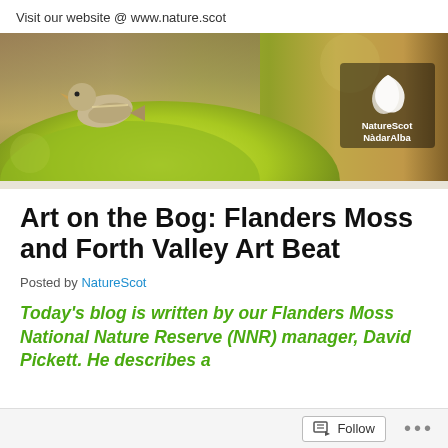Visit our website @ www.nature.scot
[Figure (photo): Banner photo of a small bird (chaffinch) perched on a moss-covered mound with a golden/green bokeh background. NatureScot NàdarAlba logo appears in the top right corner of the banner.]
Art on the Bog: Flanders Moss and Forth Valley Art Beat
Posted by NatureScot
Today's blog is written by our Flanders Moss National Nature Reserve (NNR) manager, David Pickett. He describes a